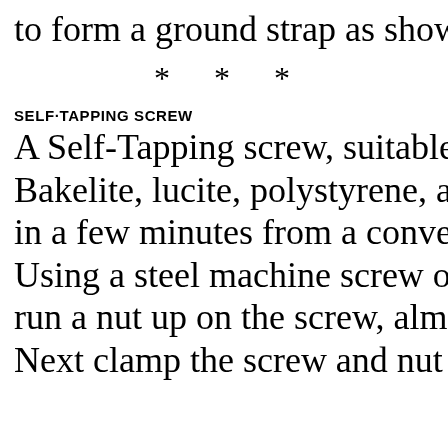to form a ground strap as shown in (F)
* * *
SELF-TAPPING SCREW
A Self-Tapping screw, suitable for use
Bakelite, lucite, polystyrene, and othe
in a few minutes from a conventional
Using a steel machine screw of the de
run a nut up on the screw, almost to th
Next clamp the screw and nut in a vise